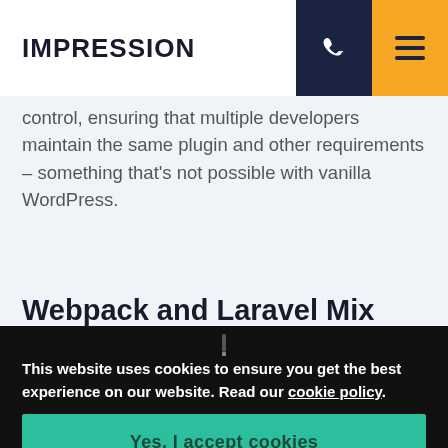IMPRESSION
control, ensuring that multiple developers maintain the same plugin and other requirements – something that's not possible with vanilla WordPress.
Webpack and Laravel Mix
This website uses cookies to ensure you get the best experience on our website. Read our cookie policy.
Yes, I accept cookies